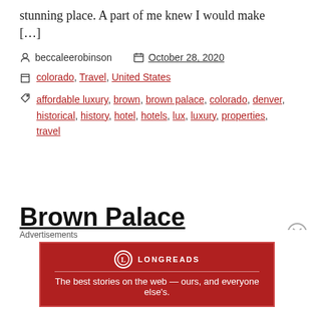stunning place. A part of me knew I would make [...]
beccaleerobinson   October 28, 2020
colorado, Travel, United States
affordable luxury, brown, brown palace, colorado, denver, historical, history, hotel, hotels, lux, luxury, properties, travel
Brown Palace Romance
Advertisements
[Figure (other): Longreads advertisement banner: red background with Longreads logo and tagline 'The best stories on the web — ours, and everyone else's.']